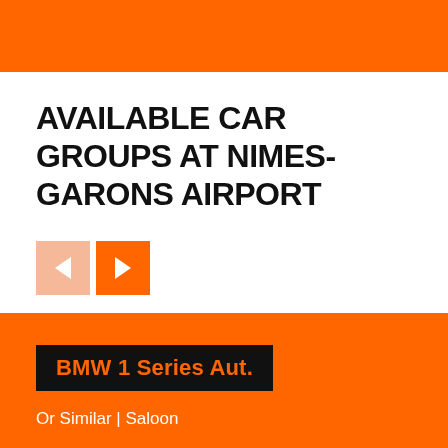[Figure (other): Orange header banner at the top of the page]
AVAILABLE CAR GROUPS AT NIMES-GARONS AIRPORT
[Figure (other): Navigation buttons: left arrow (light orange/disabled) and right arrow (orange/active)]
BMW 1 Series Aut.
Or Similar | Saloon